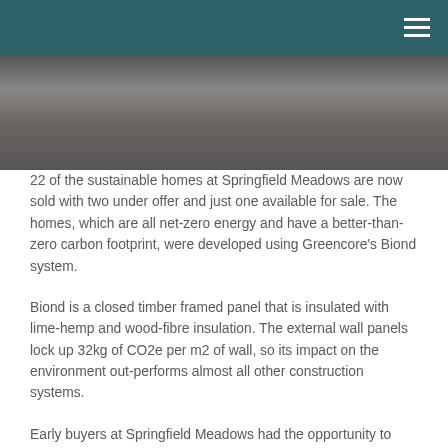[Figure (photo): Header bar with teal/dark green background and hamburger menu icon in top right, with a photo strip showing people (partially cropped, showing lower bodies in dark clothing)]
22 of the sustainable homes at Springfield Meadows are now sold with two under offer and just one available for sale. The homes, which are all net-zero energy and have a better-than-zero carbon footprint, were developed using Greencore's Biond system.
Biond is a closed timber framed panel that is insulated with lime-hemp and wood-fibre insulation. The external wall panels lock up 32kg of CO2e per m2 of wall, so its impact on the environment out-performs almost all other construction systems.
Early buyers at Springfield Meadows had the opportunity to custom-build the design of their home,